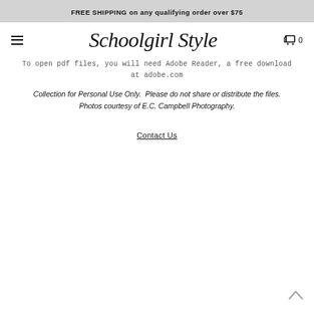FREE SHIPPING on any qualifying order over $75
[Figure (logo): Schoolgirl Style cursive script logo in the center of the navigation bar, with hamburger menu icon on the left and shopping cart icon with '0' on the right]
To open pdf files, you will need Adobe Reader, a free download at adobe.com
Collection for Personal Use Only.  Please do not share or distribute the files.
Photos courtesy of E.C. Campbell Photography.
Contact Us